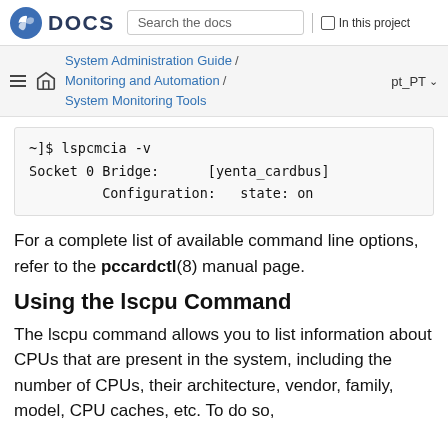Fedora DOCS | Search the docs | In this project
System Administration Guide / Monitoring and Automation / System Monitoring Tools | pt_PT
~]$ lspcmcia -v
Socket 0 Bridge:      [yenta_cardbus]
         Configuration:   state: on
For a complete list of available command line options, refer to the pccardctl(8) manual page.
Using the lscpu Command
The lscpu command allows you to list information about CPUs that are present in the system, including the number of CPUs, their architecture, vendor, family, model, CPU caches, etc. To do so,